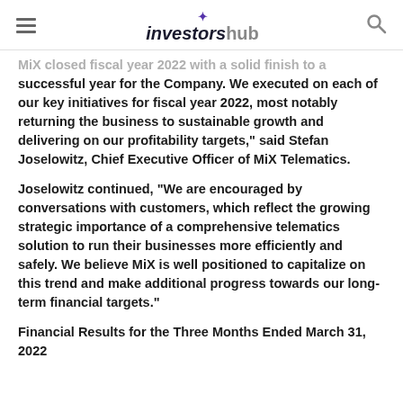investorshub
MiX closed fiscal year 2022 with a solid finish to a successful year for the Company. We executed on each of our key initiatives for fiscal year 2022, most notably returning the business to sustainable growth and delivering on our profitability targets,” said Stefan Joselowitz, Chief Executive Officer of MiX Telematics.
Joselowitz continued, “We are encouraged by conversations with customers, which reflect the growing strategic importance of a comprehensive telematics solution to run their businesses more efficiently and safely. We believe MiX is well positioned to capitalize on this trend and make additional progress towards our long-term financial targets.”
Financial Results for the Three Months Ended March 31, 2022